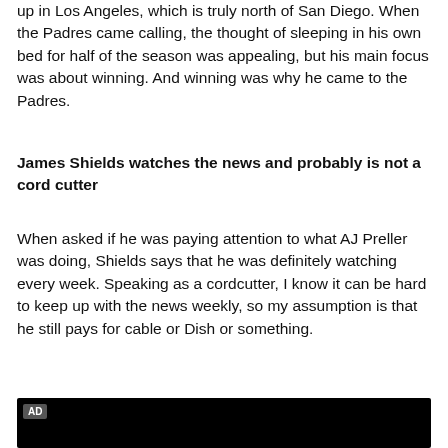up in Los Angeles, which is truly north of San Diego. When the Padres came calling, the thought of sleeping in his own bed for half of the season was appealing, but his main focus was about winning. And winning was why he came to the Padres.
James Shields watches the news and probably is not a cord cutter
When asked if he was paying attention to what AJ Preller was doing, Shields says that he was definitely watching every week. Speaking as a cordcutter, I know it can be hard to keep up with the news weekly, so my assumption is that he still pays for cable or Dish or something.
[Figure (other): Advertisement video player with black background and AD label badge]